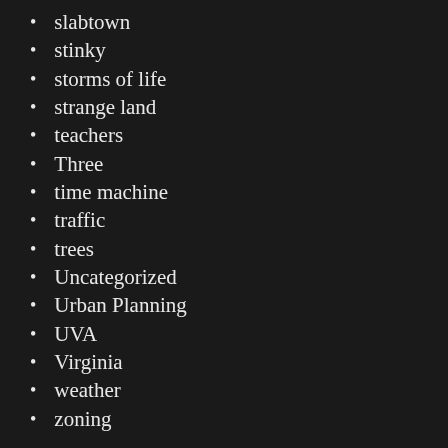slabtown
stinky
storms of life
strange land
teachers
Three
time machine
traffic
trees
Uncategorized
Urban Planning
UVA
Virginia
weather
zoning